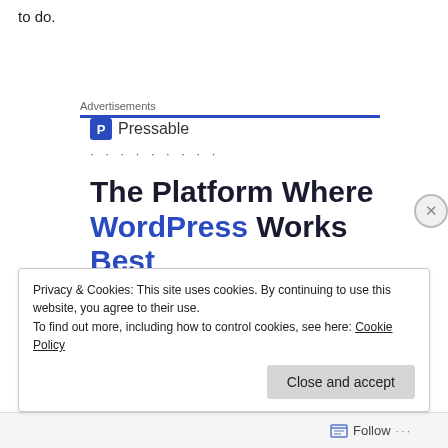to do.
Advertisements
[Figure (logo): Pressable logo with blue square P icon and text 'Pressable', followed by a dotted line]
The Platform Where WordPress Works Best
Privacy & Cookies: This site uses cookies. By continuing to use this website, you agree to their use.
To find out more, including how to control cookies, see here: Cookie Policy
Follow ...